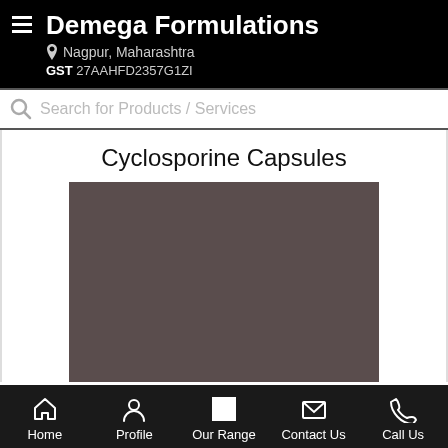Demega Formulations
Nagpur, Maharashtra
GST 27AAHFD2357G1ZI
Search for Products / Services
Cyclosporine Capsules
[Figure (photo): Dark brownish-gray product image placeholder for Cyclosporine Capsules]
Home | Profile | Our Range | Contact Us | Call Us